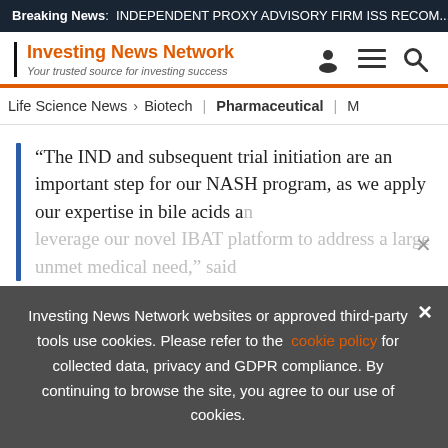Breaking News: INDEPENDENT PROXY ADVISORY FIRM ISS RECOM...
Investing News Network
Your trusted source for investing success
Life Science News > Biotech | Pharmaceutical | M
“The IND and subsequent trial initiation are an important step for our NASH program, as we apply our expertise in bile acids an leverage our novel IBAT platform to address a large unmet medical need,” said
Investing News Network websites or approved third-party tools use cookies. Please refer to the cookie policy for collected data, privacy and GDPR compliance. By continuing to browse the site, you agree to our use of cookies.